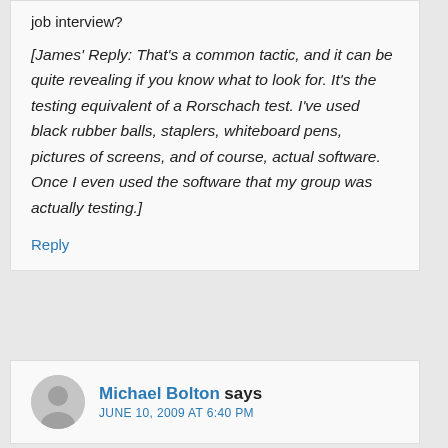job interview?
[James' Reply: That's a common tactic, and it can be quite revealing if you know what to look for. It's the testing equivalent of a Rorschach test. I've used black rubber balls, staplers, whiteboard pens, pictures of screens, and of course, actual software. Once I even used the software that my group was actually testing.]
Reply
Michael Bolton says
JUNE 10, 2009 AT 6:40 PM